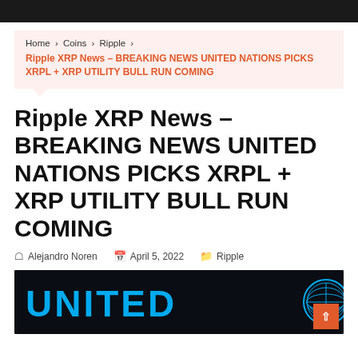Home > Coins > Ripple > Ripple XRP News – BREAKING NEWS UNITED NATIONS PICKS XRPL + XRP UTILITY BULL RUN COMING
Ripple XRP News – BREAKING NEWS UNITED NATIONS PICKS XRPL + XRP UTILITY BULL RUN COMING
Alejandro Noren   April 5, 2022   Ripple
[Figure (photo): Dark background image showing the word UNITED in large cyan/blue bold letters with the United Nations logo (globe emblem) visible on the right side]